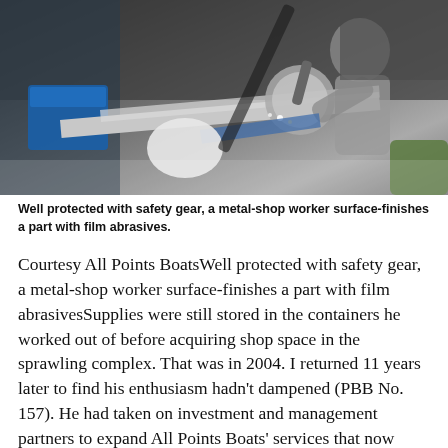[Figure (photo): A metal-shop worker wearing safety gear (protective suit, mask, gloves) surface-finishing a metal part with film abrasives using an angle grinder. Blue containers and machinery visible in industrial workshop setting.]
Well protected with safety gear, a metal-shop worker surface-finishes a part with film abrasives.
Courtesy All Points BoatsWell protected with safety gear, a metal-shop worker surface-finishes a part with film abrasivesSupplies were still stored in the containers he worked out of before acquiring shop space in the sprawling complex. That was in 2004. I returned 11 years later to find his enthusiasm hadn't dampened (PBB No. 157). He had taken on investment and management partners to expand All Points Boats' services that now included pipefitting, cabinetry, welding, and metal and composites fabrication. The jobs were still diverse: cutting the bottom out of a 140'